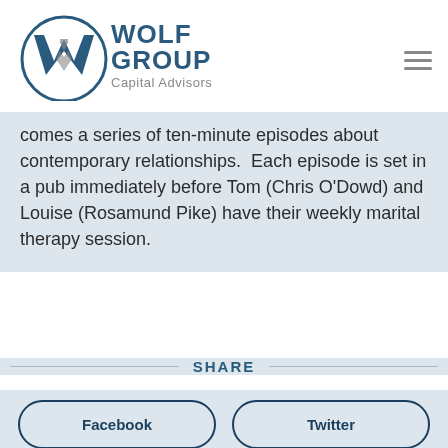[Figure (logo): Wolf Group Capital Advisors logo with a circular W emblem in dark blue and gray, with text WOLF GROUP Capital Advisors]
comes a series of ten-minute episodes about contemporary relationships.  Each episode is set in a pub immediately before Tom (Chris O'Dowd) and Louise (Rosamund Pike) have their weekly marital therapy session.
SHARE
Facebook
Twitter